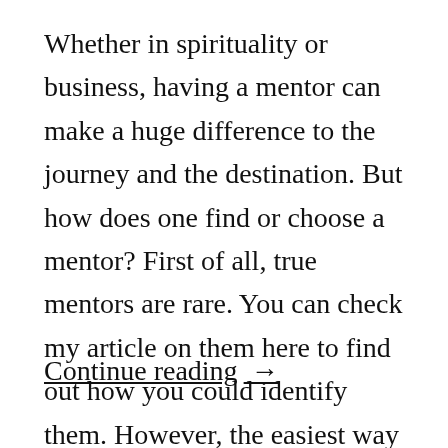Whether in spirituality or business, having a mentor can make a huge difference to the journey and the destination. But how does one find or choose a mentor? First of all, true mentors are rare. You can check my article on them here to find out how you could identify them. However, the easiest way …
Continue reading →